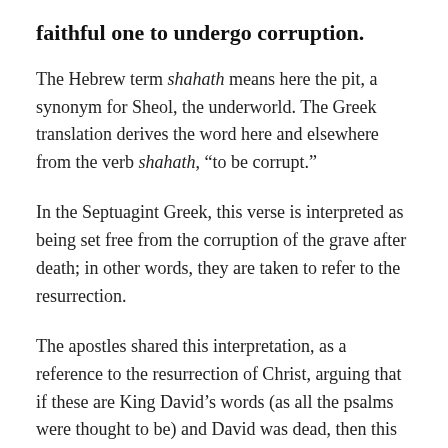faithful one to undergo corruption.
The Hebrew term shahath means here the pit, a synonym for Sheol, the underworld. The Greek translation derives the word here and elsewhere from the verb shahath, “to be corrupt.”
In the Septuagint Greek, this verse is interpreted as being set free from the corruption of the grave after death; in other words, they are taken to refer to the resurrection.
The apostles shared this interpretation, as a reference to the resurrection of Christ, arguing that if these are King David’s words (as all the psalms were thought to be) and David was dead, then this verse must refer to someone else, that